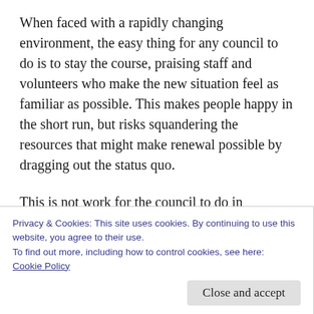When faced with a rapidly changing environment, the easy thing for any council to do is to stay the course, praising staff and volunteers who make the new situation feel as familiar as possible. This makes people happy in the short run, but risks squandering the resources that might make renewal possible by dragging out the status quo.
This is not work for the council to do in isolation, or just with the top clergy leader. It
Privacy & Cookies: This site uses cookies. By continuing to use this website, you agree to their use.
To find out more, including how to control cookies, see here:
Cookie Policy
Close and accept
vote at meetings. Choosing the most faithful